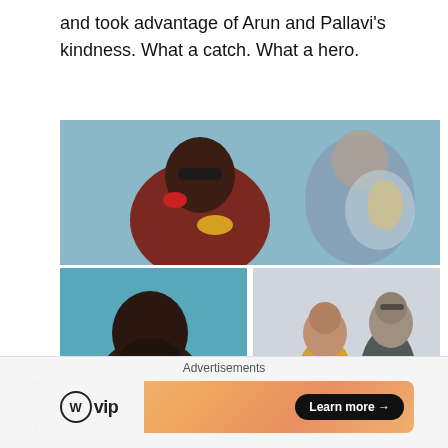and took advantage of Arun and Pallavi’s kindness. What a catch. What a hero.
[Figure (photo): Collage of three movie stills: top image shows a young man wearing sunglasses and a dark red hoodie with red headphones around his neck; bottom-left shows a bearded young man on a phone; bottom-right shows a woman in a yellow top and a man in a gray shirt standing together.]
Advertisements
[Figure (other): WordPress VIP advertisement banner with orange gradient background and a Learn more button]